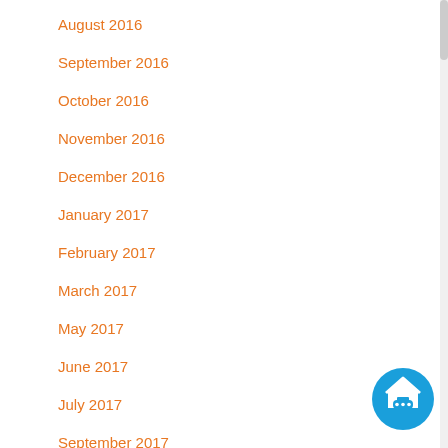August 2016
September 2016
October 2016
November 2016
December 2016
January 2017
February 2017
March 2017
May 2017
June 2017
July 2017
September 2017
December 2017
[Figure (illustration): Blue circular chat/home button icon in bottom-right corner]